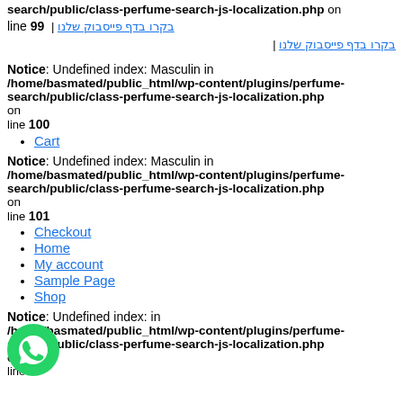search/public/class-perfume-search-js-localization.php on line 99 | בקרו בדף פייסבוק שלנו | בתבו אלינו | בקרו בדת פייסבוק שלנו
Notice: Undefined index: Masculin in /home/basmated/public_html/wp-content/plugins/perfume-search/public/class-perfume-search-js-localization.php on line 100
Cart
Notice: Undefined index: Masculin in /home/basmated/public_html/wp-content/plugins/perfume-search/public/class-perfume-search-js-localization.php on line 101
Checkout
Home
My account
Sample Page
Shop
Notice: Undefined index: in /home/basmated/public_html/wp-content/plugins/perfume-search/public/class-perfume-search-js-localization.php on line
[Figure (photo): WhatsApp icon button, green circle with phone handset]